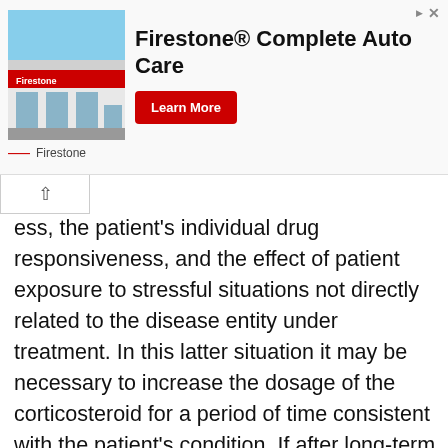[Figure (advertisement): Firestone Complete Auto Care advertisement banner with store photo, bold text title, red Learn More button, and Firestone logo text below.]
ess, the patient's individual drug responsiveness, and the effect of patient exposure to stressful situations not directly related to the disease entity under treatment. In this latter situation it may be necessary to increase the dosage of the corticosteroid for a period of time consistent with the patient's condition. If after long-term therapy the drug is to be stopped, it is recommended that it be withdrawn gradually rather than abruptly. In the treatment of acute exacerbations of multiple sclerosis, daily doses of 30 mg of betamethasone for a week followed by 12 mg